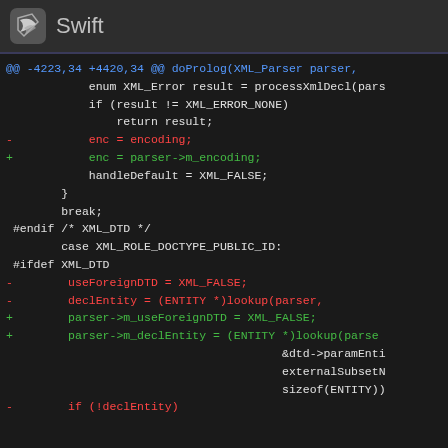Swift
@@ -4223,34 +4420,34 @@ doProlog(XML_Parser parser,
            enum XML_Error result = processXmlDecl(pars
            if (result != XML_ERROR_NONE)
                return result;
-           enc = encoding;
+           enc = parser->m_encoding;
            handleDefault = XML_FALSE;
        }
        break;
 #endif /* XML_DTD */
        case XML_ROLE_DOCTYPE_PUBLIC_ID:
 #ifdef XML_DTD
-        useForeignDTD = XML_FALSE;
-        declEntity = (ENTITY *)lookup(parser,
+        parser->m_useForeignDTD = XML_FALSE;
+        parser->m_declEntity = (ENTITY *)lookup(parse
                                        &dtd->paramEnti
                                        externalSubsetN
                                        sizeof(ENTITY))
-        if (!declEntity)